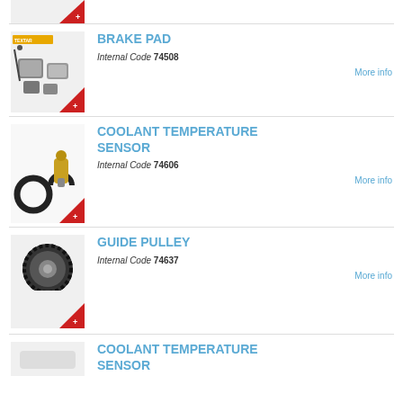[Figure (photo): Partial product image at top with Swiss badge (red triangle with white cross)]
BRAKE PAD
Internal Code 74508
[Figure (photo): Brake pad set product photo with Swiss badge]
COOLANT TEMPERATURE SENSOR
Internal Code 74606
[Figure (photo): Coolant temperature sensor product photo with Swiss badge]
GUIDE PULLEY
Internal Code 74637
[Figure (photo): Guide pulley product photo with Swiss badge]
COOLANT TEMPERATURE SENSOR